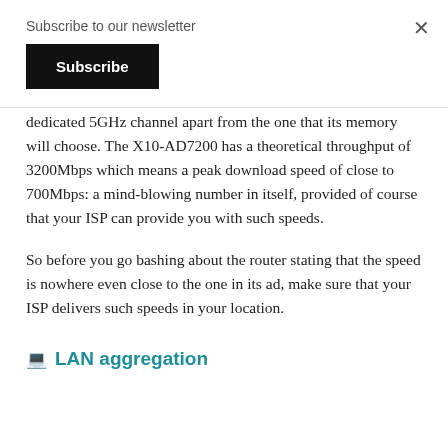Subscribe to our newsletter
Subscribe
dedicated 5GHz channel apart from the one that its memory will choose. The X10-AD7200 has a theoretical throughput of 3200Mbps which means a peak download speed of close to 700Mbps: a mind-blowing number in itself, provided of course that your ISP can provide you with such speeds.
So before you go bashing about the router stating that the speed is nowhere even close to the one in its ad, make sure that your ISP delivers such speeds in your location.
LAN aggregation